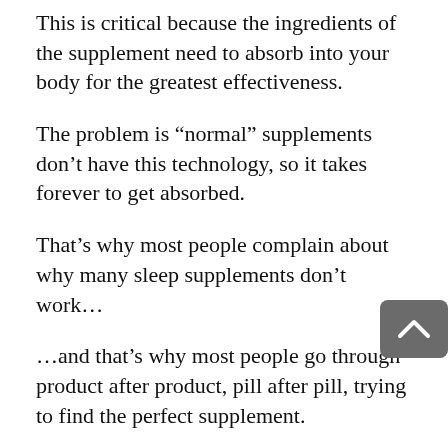This is critical because the ingredients of the supplement need to absorb into your body for the greatest effectiveness.
The problem is “normal” supplements don’t have this technology, so it takes forever to get absorbed.
That’s why most people complain about why many sleep supplements don’t work…
…and that’s why most people go through product after product, pill after pill, trying to find the perfect supplement.
(How frustrating!)